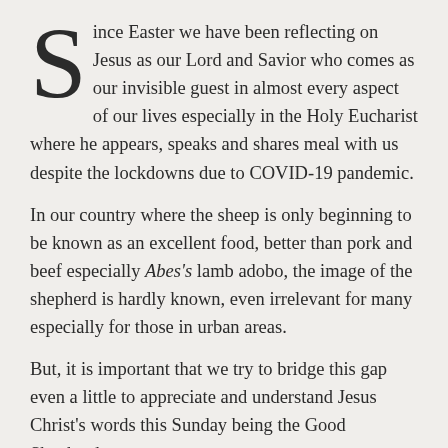Since Easter we have been reflecting on Jesus as our Lord and Savior who comes as our invisible guest in almost every aspect of our lives especially in the Holy Eucharist where he appears, speaks and shares meal with us despite the lockdowns due to COVID-19 pandemic.
In our country where the sheep is only beginning to be known as an excellent food, better than pork and beef especially Abes's lamb adobo, the image of the shepherd is hardly known, even irrelevant for many especially for those in urban areas.
But, it is important that we try to bridge this gap even a little to appreciate and understand Jesus Christ's words this Sunday being the Good Shepherd.